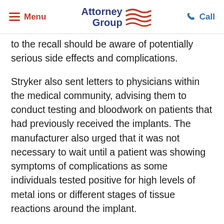Menu | Attorney Group | Call
to the recall should be aware of potentially serious side effects and complications.
Stryker also sent letters to physicians within the medical community, advising them to conduct testing and bloodwork on patients that had previously received the implants. The manufacturer also urged that it was not necessary to wait until a patient was showing symptoms of complications as some individuals tested positive for high levels of metal ions or different stages of tissue reactions around the implant.
How Do I File a Stryker